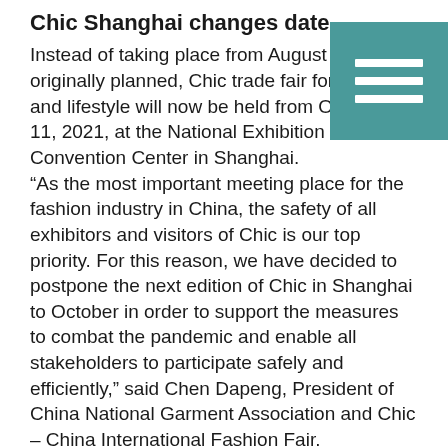Chic Shanghai changes date
Instead of taking place from August 25-27 as originally planned, Chic trade fair for fashion and lifestyle will now be held from October 9-11, 2021, at the National Exhibition and Convention Center in Shanghai. “As the most important meeting place for the fashion industry in China, the safety of all exhibitors and visitors of Chic is our top priority. For this reason, we have decided to postpone the next edition of Chic in Shanghai to October in order to support the measures to combat the pandemic and enable all stakeholders to participate safely and efficiently,” said Chen Dapeng, President of China National Garment Association and Chic – China International Fashion Fair.